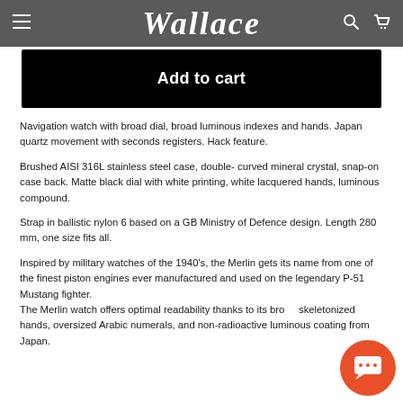Wallace
Add to cart
Navigation watch with broad dial, broad luminous indexes and hands. Japan quartz movement with seconds registers. Hack feature.
Brushed AISI 316L stainless steel case, double- curved mineral crystal, snap-on case back. Matte black dial with white printing, white lacquered hands, luminous compound.
Strap in ballistic nylon 6 based on a GB Ministry of Defence design. Length 280 mm, one size fits all.
Inspired by military watches of the 1940's, the Merlin gets its name from one of the finest piston engines ever manufactured and used on the legendary P-51 Mustang fighter. The Merlin watch offers optimal readability thanks to its broad skeletonized hands, oversized Arabic numerals, and non-radioactive luminous coating from Japan.